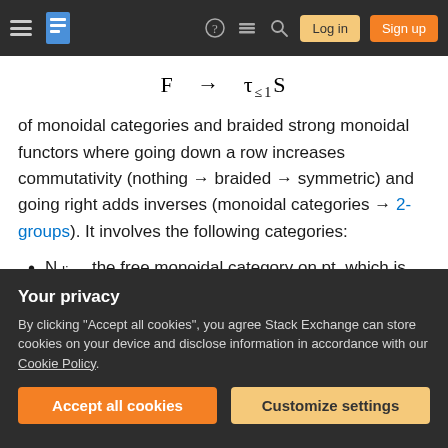[Figure (screenshot): Stack Exchange navigation bar with hamburger menu, logo, help, chat, search icons, Log in and Sign up buttons on dark background]
of monoidal categories and braided strong monoidal functors where going down a row increases commutativity (nothing → braided → symmetric) and going right adds inverses (monoidal categories → 2-groups). It involves the following categories:
Ndisc, the free monoidal category on pt, which is the discrete monoidal category on N;
Your privacy
By clicking "Accept all cookies", you agree Stack Exchange can store cookies on your device and disclose information in accordance with our Cookie Policy.